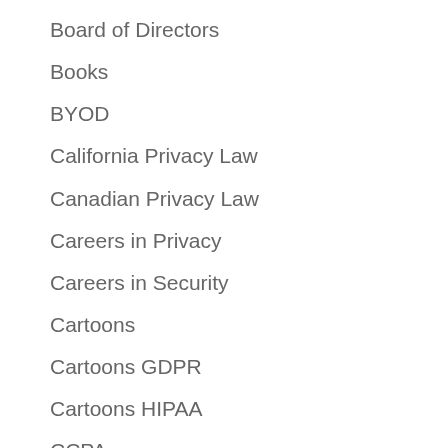Board of Directors
Books
BYOD
California Privacy Law
Canadian Privacy Law
Careers in Privacy
Careers in Security
Cartoons
Cartoons GDPR
Cartoons HIPAA
CCPA
CDA 230